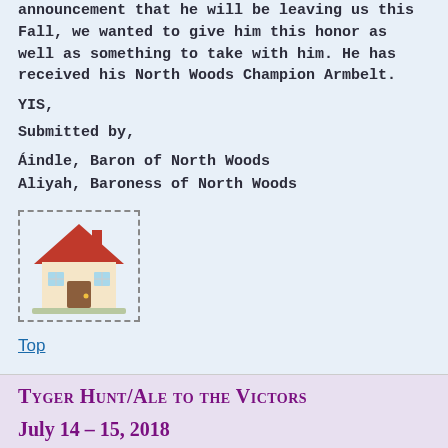announcement that he will be leaving us this Fall, we wanted to give him this honor as well as something to take with him. He has received his North Woods Champion Armbelt.
YIS,
Submitted by,
Aindle, Baron of North Woods
Aliyah, Baroness of North Woods
[Figure (illustration): House emoji illustration inside a dashed border box]
Top
Tyger Hunt/Ale to the Victors
July 14 – 15, 2018
Riding of Hawkland Moor, North Woods
Greetings North Woods!